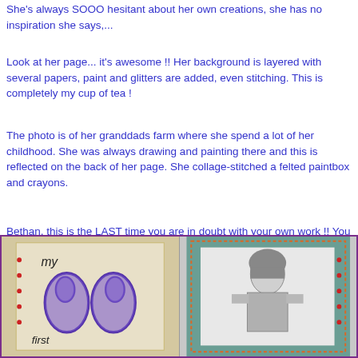She's always SOOO hesitant about her own creations, she has no inspiration she says,...
Look at her page... it's awesome !! Her background is layered with several papers, paint and glitters are added, even stitching. This is completely my cup of tea !
The photo is of her granddads farm where she spend a lot of her childhood. She was always drawing and painting there and this is reflected on the back of her page. She collage-stitched a felted paintbox and crayons.
Bethan, this is the LAST time you are in doubt with your own work !! You can do it and I love it ! :)
[Figure (photo): Two scrapbook pages side by side: left page shows purple drawn shoes outline with text 'my first', right page shows a black and white photo of a young girl]